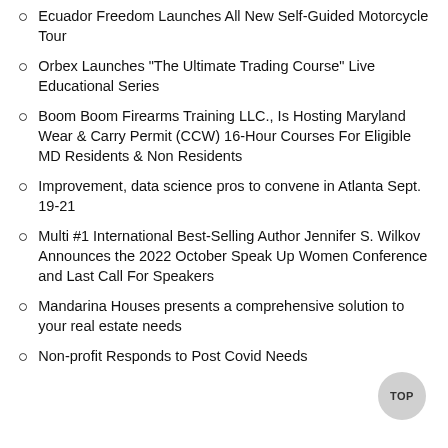Ecuador Freedom Launches All New Self-Guided Motorcycle Tour
Orbex Launches "The Ultimate Trading Course" Live Educational Series
Boom Boom Firearms Training LLC., Is Hosting Maryland Wear & Carry Permit (CCW) 16-Hour Courses For Eligible MD Residents & Non Residents
Improvement, data science pros to convene in Atlanta Sept. 19-21
Multi #1 International Best-Selling Author Jennifer S. Wilkov Announces the 2022 October Speak Up Women Conference and Last Call For Speakers
Mandarina Houses presents a comprehensive solution to your real estate needs
Non-profit Responds to Post Covid Needs